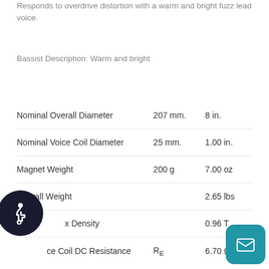Responds to overdrive distortion with a warm and bright fuzz lead voice.
Bassist Description: Warm and bright
| Specification | Metric | Imperial |
| --- | --- | --- |
| Nominal Overall Diameter | 207 mm. | 8 in. |
| Nominal Voice Coil Diameter | 25 mm. | 1.00 in. |
| Magnet Weight | 200 g | 7.00 oz |
| Overall Weight |  | 2.65 lbs |
| [Gap] Flux Density |  | 0.96 T |
| Voice Coil DC Resistance | R_E | 6.70 Ω |